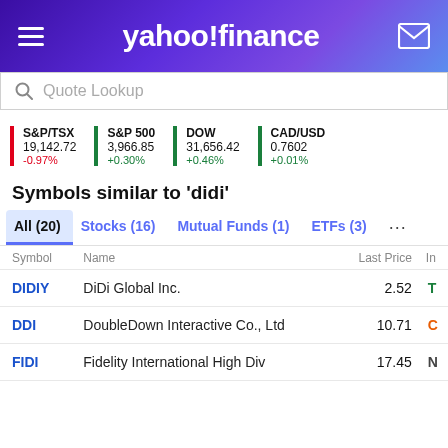yahoo!finance
Quote Lookup
S&P/TSX 19,142.72 -0.97% | S&P 500 3,966.85 +0.30% | DOW 31,656.42 +0.46% | CAD/USD 0.7602 +0.01%
Symbols similar to 'didi'
All (20)  Stocks (16)  Mutual Funds (1)  ETFs (3)
| Symbol | Name | Last Price | In |
| --- | --- | --- | --- |
| DIDIY | DiDi Global Inc. | 2.52 | T |
| DDI | DoubleDown Interactive Co., Ltd | 10.71 | C |
| FIDI | Fidelity International High Div | 17.45 | N |